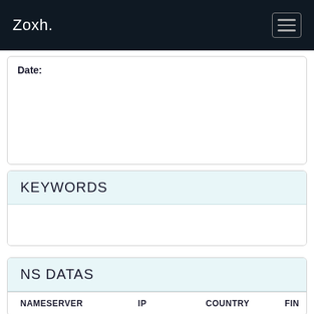Zoxh.
Date:
KEYWORDS
NS DATAS
| NAMESERVER | IP | COUNTRY | FIN |
| --- | --- | --- | --- |